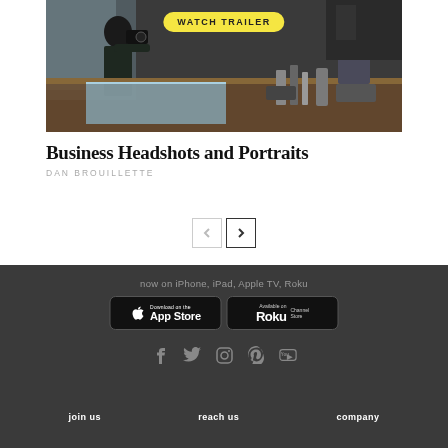[Figure (photo): Photographer taking pictures of an artist painting at a studio workshop. Dark moody indoor scene.]
Business Headshots and Portraits
DAN BROUILLETTE
now on iPhone, iPad, Apple TV, Roku
[Figure (logo): Download on the App Store badge]
[Figure (logo): Available on Roku Channel Store badge]
[Figure (infographic): Social media icons: Facebook, Twitter, Instagram, Pinterest, YouTube]
join us   reach us   company